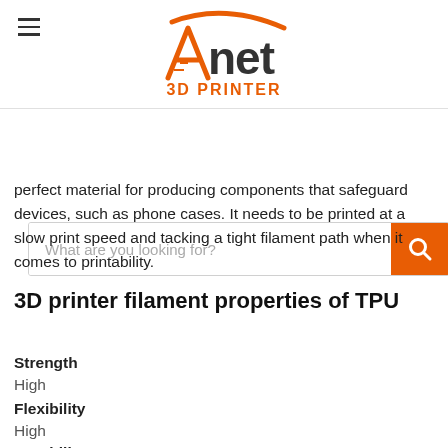[Figure (logo): Anet 3D Printer logo with orange A and swoosh, dark grey 'net' text, orange '3D PRINTER' text below]
[Figure (screenshot): Search bar with placeholder text 'What are you looking for?' and orange search button with magnifier icon]
perfect material for producing components that safeguard devices, such as phone cases. It needs to be printed at a slow print speed and tacking a tight filament path when it comes to printability.
3D printer filament properties of TPU
Strength
High
Flexibility
High
Durability